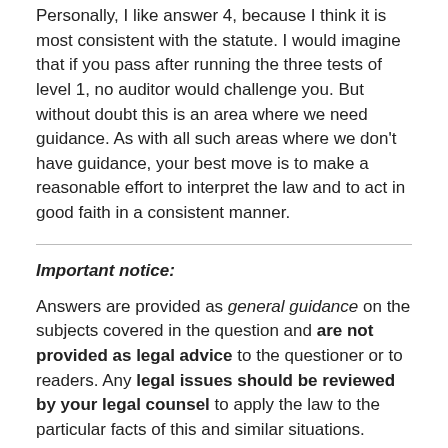Personally, I like answer 4, because I think it is most consistent with the statute. I would imagine that if you pass after running the three tests of level 1, no auditor would challenge you. But without doubt this is an area where we need guidance. As with all such areas where we don't have guidance, your best move is to make a reasonable effort to interpret the law and to act in good faith in a consistent manner.
Important notice:
Answers are provided as general guidance on the subjects covered in the question and are not provided as legal advice to the questioner or to readers. Any legal issues should be reviewed by your legal counsel to apply the law to the particular facts of this and similar situations.
The law in this area changes frequently. Answers are believed to be correct as of the posting dates shown. The